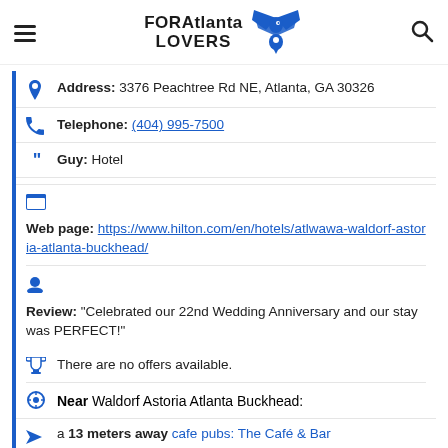FOR Atlanta LOVERS
Address: 3376 Peachtree Rd NE, Atlanta, GA 30326
Telephone: (404) 995-7500
Guy: Hotel
Web page: https://www.hilton.com/en/hotels/atlwawa-waldorf-astoria-atlanta-buckhead/
Review: "Celebrated our 22nd Wedding Anniversary and our stay was PERFECT!"
There are no offers available.
Near Waldorf Astoria Atlanta Buckhead:
a 13 meters away cafe pubs: The Café & Bar
a 20 meters away couples spa: Waldorf Astoria Spa Atlanta